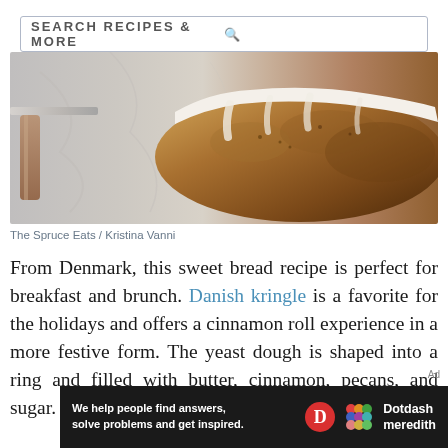SEARCH RECIPES & MORE
[Figure (photo): Photo of a glazed Danish kringle bread with white icing on a marble surface, with a spatula visible on the left side.]
The Spruce Eats / Kristina Vanni
From Denmark, this sweet bread recipe is perfect for breakfast and brunch. Danish kringle is a favorite for the holidays and offers a cinnamon roll experience in a more festive form. The yeast dough is shaped into a ring and filled with butter, cinnamon, pecans, and sugar. Topped with icing, it's a wonderful treat you'll
Ad
We help people find answers, solve problems and get inspired. Dotdash meredith